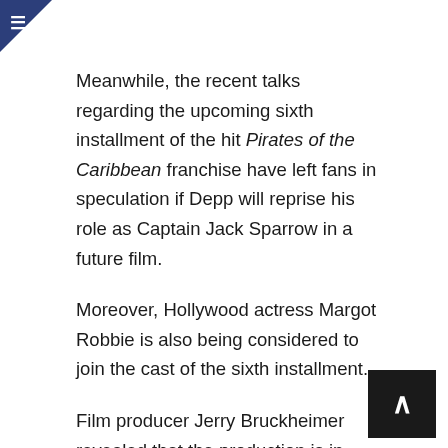≡
Meanwhile, the recent talks regarding the upcoming sixth installment of the hit Pirates of the Caribbean franchise have left fans in speculation if Depp will reprise his role as Captain Jack Sparrow in a future film.
Moreover, Hollywood actress Margot Robbie is also being considered to join the cast of the sixth installment.
Film producer Jerry Bruckheimer revealed that the production is in talks with Margot for a lead role. He was asked whether Johnny will be back and he replied, ‘Not at this point,’ reported The Sunday Times’ Culture magazine.
Bruckheimer also said Depp’s role in future Pirates of